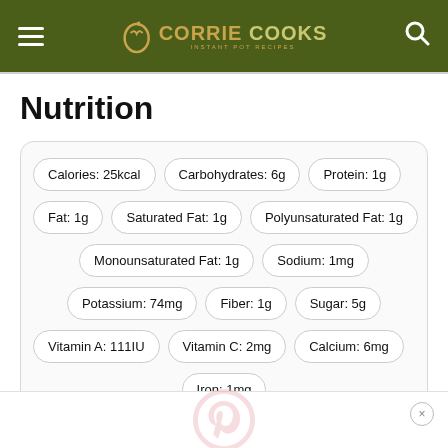CORRIE COOKS
Nutrition
| Nutrient | Value |
| --- | --- |
| Calories | 25kcal |
| Carbohydrates | 6g |
| Protein | 1g |
| Fat | 1g |
| Saturated Fat | 1g |
| Polyunsaturated Fat | 1g |
| Monounsaturated Fat | 1g |
| Sodium | 1mg |
| Potassium | 74mg |
| Fiber | 1g |
| Sugar | 5g |
| Vitamin A | 111IU |
| Vitamin C | 2mg |
| Calcium | 6mg |
| Iron | 1mg |